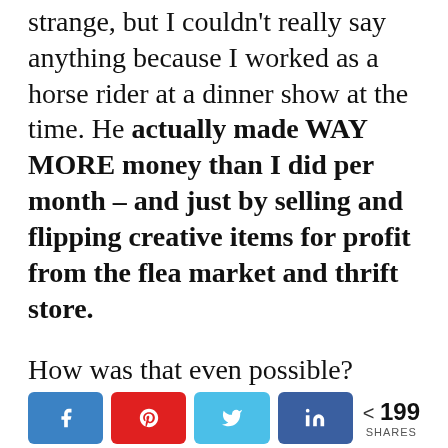strange, but I couldn't really say anything because I worked as a horse rider at a dinner show at the time. He actually made WAY MORE money than I did per month – and just by selling and flipping creative items for profit from the flea market and thrift store.

How was that even possible?
[Figure (other): Social share buttons: Facebook, Pinterest, Twitter, LinkedIn, and a share count showing 199 SHARES]